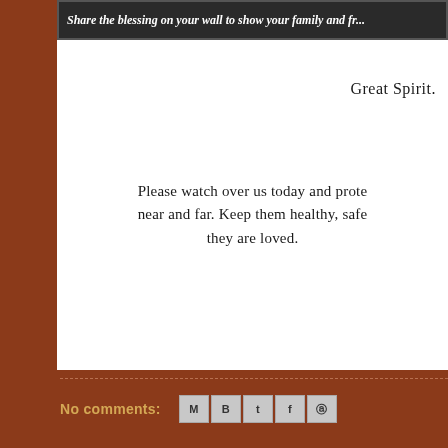[Figure (screenshot): Dark banner with italic bold text: Share the blessing on your wall to show your family and fr...]
Great Spirit.
Please watch over us today and prote... near and far. Keep them healthy, safe... they are loved.
No comments:
[Figure (other): Social sharing icons: Email, Blogger, Twitter, Facebook, Pinterest]
Set Yourself Free.
[Figure (photo): Dark photo with vertical bar/stripe patterns, appears to be a dark artistic or nature photograph with watermark text]